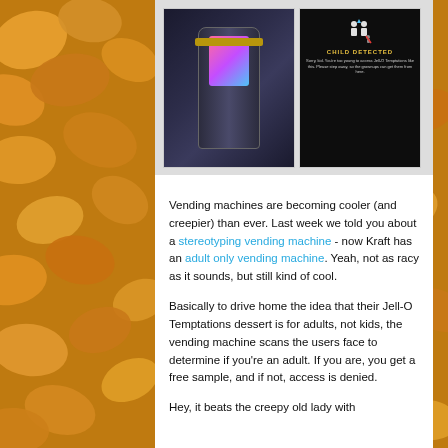[Figure (photo): Photo of a vending machine on the left side and a dark screen showing 'CHILD DETECTED' message on the right side]
Vending machines are becoming cooler (and creepier) than ever. Last week we told you about a stereotyping vending machine - now Kraft has an adult only vending machine. Yeah, not as racy as it sounds, but still kind of cool.
Basically to drive home the idea that their Jell-O Temptations dessert is for adults, not kids, the vending machine scans the users face to determine if you're an adult. If you are, you get a free sample, and if not, access is denied.
Hey, it beats the creepy old lady with